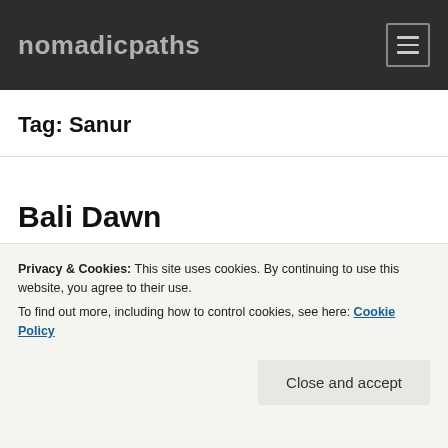nomadicpaths
Tag: Sanur
Bali Dawn
[Figure (photo): Partial photo of a dawn scene in Bali, partially obscured by cookie banner]
Privacy & Cookies: This site uses cookies. By continuing to use this website, you agree to their use.
To find out more, including how to control cookies, see here: Cookie Policy
Close and accept